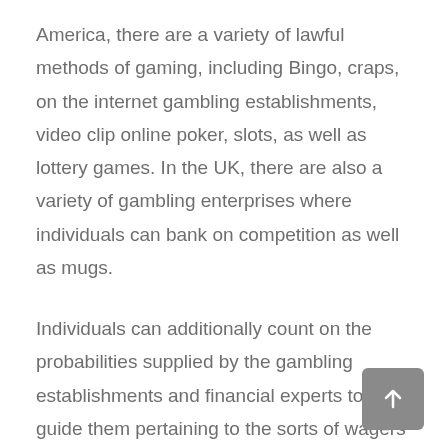America, there are a variety of lawful methods of gaming, including Bingo, craps, on the internet gambling establishments, video clip online poker, slots, as well as lottery games. In the UK, there are also a variety of gambling enterprises where individuals can bank on competition as well as mugs.
Individuals can additionally count on the probabilities supplied by the gambling establishments and financial experts to guide them pertaining to the sorts of wagers they should make. A bettor will need to know about statistics to make an enlightened decision regarding his gaming decisions. Many casino